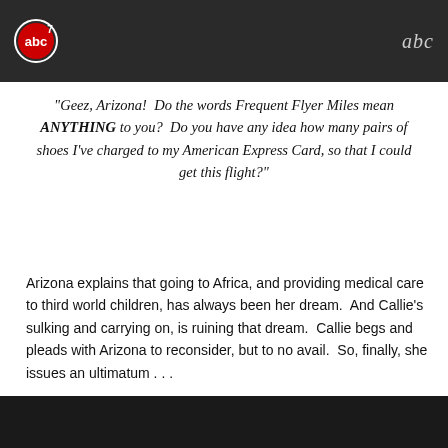[Figure (screenshot): Dark screenshot from ABC7 TV broadcast showing two people, with abc7 logo on left and abc logo on right]
“Geez, Arizona!  Do the words Frequent Flyer Miles mean ANYTHING to you?  Do you have any idea how many pairs of shoes I’ve charged to my American Express Card, so that I could get this flight?”
Arizona explains that going to Africa, and providing medical care to third world children, has always been her dream.  And Callie’s sulking and carrying on, is ruining that dream.  Callie begs and pleads with Arizona to reconsider, but to no avail.  So, finally, she issues an ultimatum . . .
“If you get on that plane and go without me we are done.  Do you hear me? We are over,” Callie insists.
[Figure (screenshot): Dark screenshot from TV broadcast showing a person]